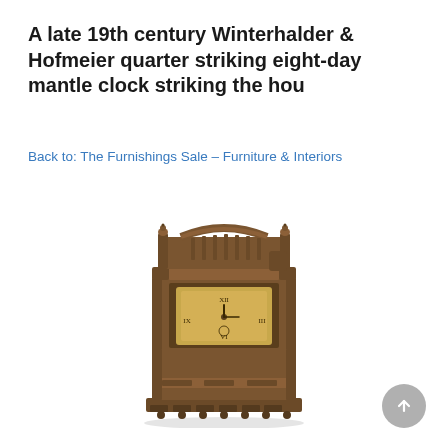A late 19th century Winterhalder & Hofmeier quarter striking eight-day mantle clock striking the hou
Back to: The Furnishings Sale – Furniture & Interiors
[Figure (photo): A late 19th century ornate wooden mantle clock with decorative carved case, arched gallery top with spindles and finials, gilt dial with Roman numerals, and scalloped base.]